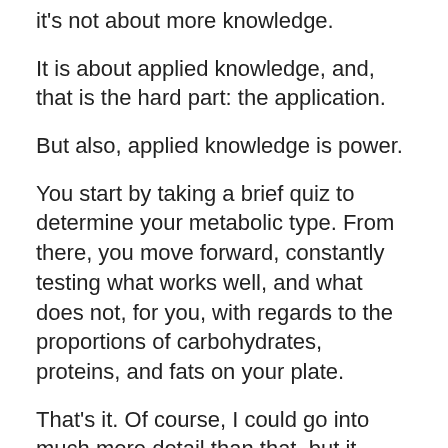it's not about more knowledge.
It is about applied knowledge, and, that is the hard part: the application.
But also, applied knowledge is power.
You start by taking a brief quiz to determine your metabolic type. From there, you move forward, constantly testing what works well, and what does not, for you, with regards to the proportions of carbohydrates, proteins, and fats on your plate.
That’s it. Of course, I could go into much more detail than that, but it really is that simple. My favorite resource for learning more about this process and trying it this book.